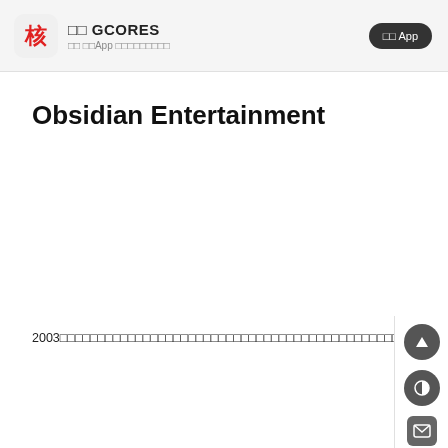核 GCORES 核 核核App 核核核核核核核核核
Obsidian Entertainment
2003核核核核核核核核核核核核核核核核核核核核核核核核核核核核核核核核核核核核核核核核核核核核核核核核核核核核核核核核核核核核核核核核核核核核核核核核核核核核核核核核核核核核核核核核核核核核核核核核核核核核2018核11核核核核核核核核核核核核核IP核核核核核核核核核核核核核核核核核核核核核核